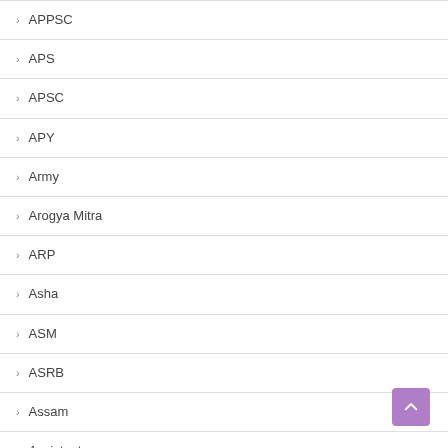› APPSC
› APS
› APSC
› APY
› Army
› Arogya Mitra
› ARP
› Asha
› ASM
› ASRB
› Assam
› Assistant
› Astrology
› AT Exam
› AU